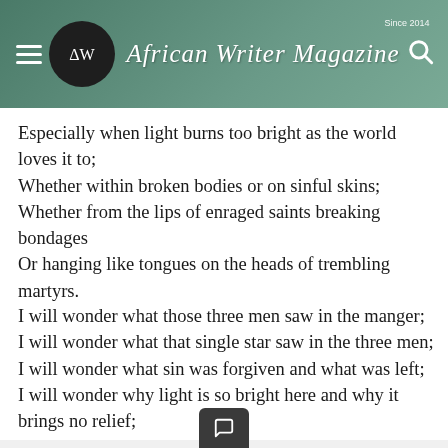African Writer Magazine — Since 2014
Especially when light burns too bright as the world loves it to;
Whether within broken bodies or on sinful skins;
Whether from the lips of enraged saints breaking bondages
Or hanging like tongues on the heads of trembling martyrs.
I will wonder what those three men saw in the manger;
I will wonder what that single star saw in the three men;
I will wonder what sin was forgiven and what was left;
I will wonder why light is so bright here and why it brings no relief;